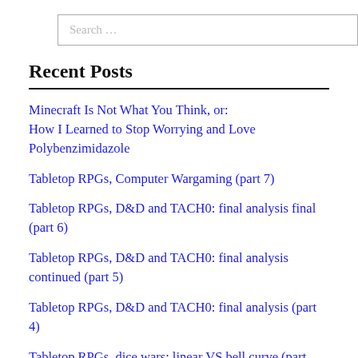Search …
Recent Posts
Minecraft Is Not What You Think, or: How I Learned to Stop Worrying and Love Polybenzimidazole
Tabletop RPGs, Computer Wargaming (part 7)
Tabletop RPGs, D&D and TACH0: final analysis final (part 6)
Tabletop RPGs, D&D and TACH0: final analysis continued (part 5)
Tabletop RPGs, D&D and TACH0: final analysis (part 4)
Tabletop RPGs, dice wars: linear VS bell curve (part 3)